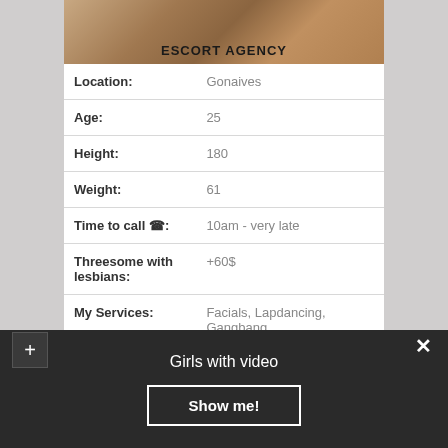[Figure (photo): Banner image with wood/earth texture background and text 'ESCORT AGENCY']
| Location: | Gonaives |
| Age: | 25 |
| Height: | 180 |
| Weight: | 61 |
| Time to call ☎: | 10am - very late |
| Threesome with lesbians: | +60$ |
| My Services: | Facials, Lapdancing, Gangbang |
| Sizes: | 91-56-87 |
Girls with video
Show me!